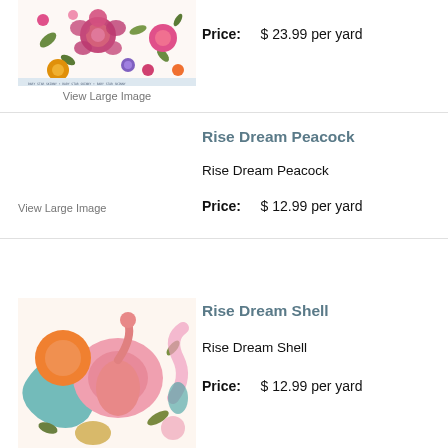[Figure (photo): Colorful floral fabric print with pink roses, orange and yellow flowers on white background]
View Large Image
Price: $ 23.99 per yard
Rise Dream Peacock
Rise Dream Peacock
View Large Image
Price: $ 12.99 per yard
[Figure (photo): Abstract colorful fabric print with flamingo, orange circles, pink and teal swirls]
Rise Dream Shell
Rise Dream Shell
Price: $ 12.99 per yard